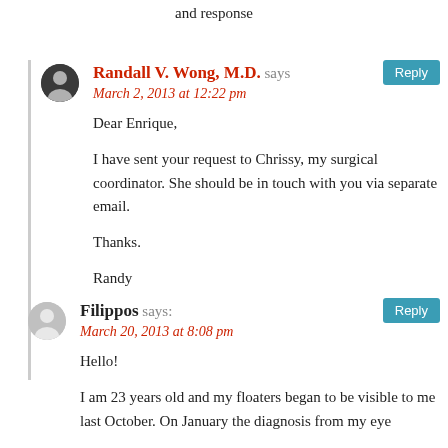and response
Randall V. Wong, M.D. says
March 2, 2013 at 12:22 pm
Dear Enrique,

I have sent your request to Chrissy, my surgical coordinator. She should be in touch with you via separate email.

Thanks.

Randy
Filippos says:
March 20, 2013 at 8:08 pm
Hello!

I am 23 years old and my floaters began to be visible to me last October. On January the diagnosis from my eye